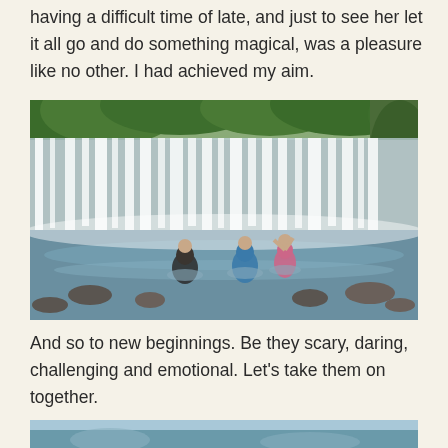having a difficult time of late, and just to see her let it all go and do something magical, was a pleasure like no other. I had achieved my aim.
[Figure (photo): People wading in a river in front of a wide waterfall surrounded by lush green vegetation and rocks.]
And so to new beginnings. Be they scary, daring, challenging and emotional. Let's take them on together.
[Figure (photo): Partial view of another outdoor scene, partially cropped at the bottom of the page.]